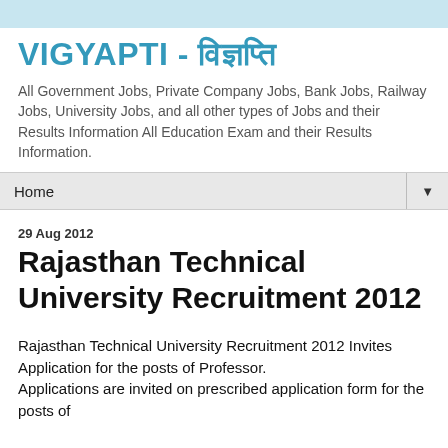VIGYAPTI - विज्ञप्ति
All Government Jobs, Private Company Jobs, Bank Jobs, Railway Jobs, University Jobs, and all other types of Jobs and their Results Information All Education Exam and their Results Information.
Home
29 Aug 2012
Rajasthan Technical University Recruitment 2012
Rajasthan Technical University Recruitment 2012 Invites Application for the posts of Professor.
Applications are invited on prescribed application form for the posts of